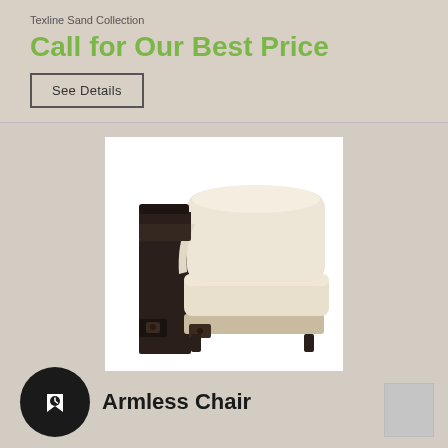Texline Sand Collection
Call for Our Best Price
See Details
[Figure (photo): An armless chair with cream/beige upholstery and dark espresso-colored wooden frame base, photographed against a white background. The chair has a rounded back cushion and a seat cushion with visible connector hardware on the sides.]
Armless Chair